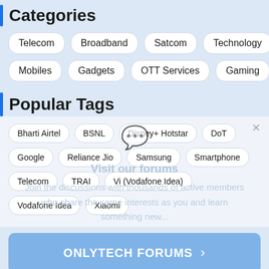Categories
Telecom
Broadband
Satcom
Technology
Mobiles
Gadgets
OTT Services
Gaming
Popular Tags
Bharti Airtel
BSNL
Disney+ Hotstar
DoT
Google
Reliance Jio
Samsung
Smartphone
Telecom
TRAI
Vi (Vodafone Idea)
Vodafone Idea
Xiaomi
Visit our forums. Join the discussions with thousands of active members who share the same interests as you and learn something new...
ONLYTECH FORUMS >
Get Email Updates